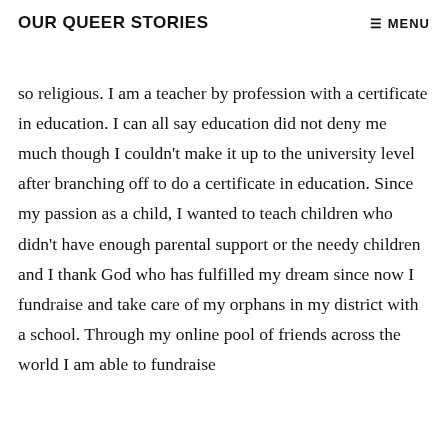OUR QUEER STORIES  ☰ MENU
so religious. I am a teacher by profession with a certificate in education. I can all say education did not deny me much though I couldn't make it up to the university level after branching off to do a certificate in education. Since my passion as a child, I wanted to teach children who didn't have enough parental support or the needy children and I thank God who has fulfilled my dream since now I fundraise and take care of my orphans in my district with a school. Through my online pool of friends across the world I am able to fundraise